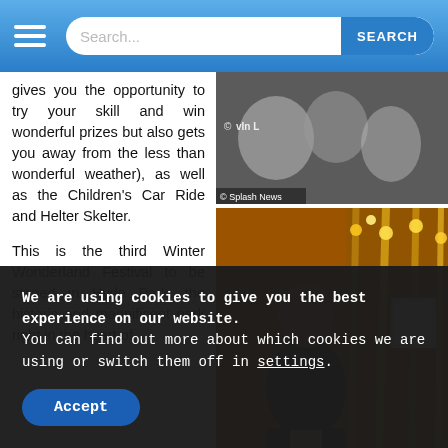Search...  SEARCH
gives you the opportunity to try your skill and win wonderful prizes but also gets you away from the less than wonderful weather), as well as the Children's Car Ride and Helter Skelter.
This is the third Winter Wonderland Festival to be staged in Hyde Park, the historic and magnificent park right in the heart of
[Figure (photo): Small photo with © Splash News watermark, showing fairground items]
[Figure (photo): Large photo of a man in a dark suit at a fairground carousel with golden ropes and lights]
We are using cookies to give you the best experience on our website.
You can find out more about which cookies we are using or switch them off in settings.
Accept